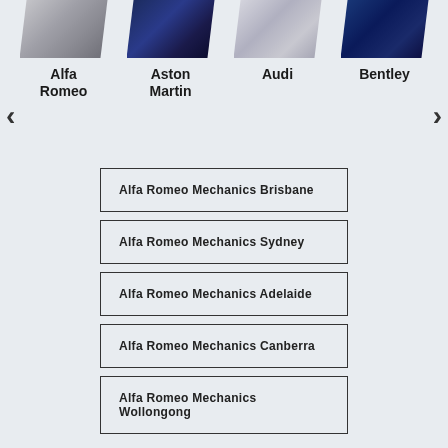[Figure (screenshot): Car brand carousel with 4 car thumbnail images (Alfa Romeo, Aston Martin, Audi, Bentley) shown as skewed parallelogram photos with left/right navigation arrows]
Alfa Romeo
Aston Martin
Audi
Bentley
Alfa Romeo Mechanics Brisbane
Alfa Romeo Mechanics Sydney
Alfa Romeo Mechanics Adelaide
Alfa Romeo Mechanics Canberra
Alfa Romeo Mechanics Wollongong